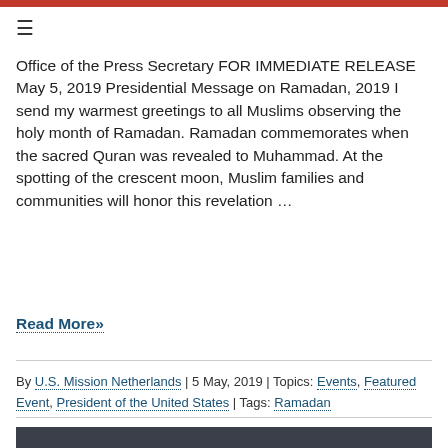≡
Office of the Press Secretary FOR IMMEDIATE RELEASE May 5, 2019 Presidential Message on Ramadan, 2019 I send my warmest greetings to all Muslims observing the holy month of Ramadan. Ramadan commemorates when the sacred Quran was revealed to Muhammad. At the spotting of the crescent moon, Muslim families and communities will honor this revelation …
Read More»
By U.S. Mission Netherlands | 5 May, 2019 | Topics: Events, Featured Event, President of the United States | Tags: Ramadan
[Figure (photo): Dark grey image block partially visible at bottom of page]